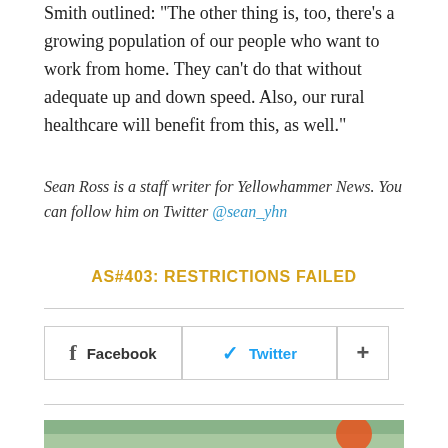Smith outlined: "The other thing is, too, there's a growing population of our people who want to work from home. They can't do that without adequate up and down speed. Also, our rural healthcare will benefit from this, as well."
Sean Ross is a staff writer for Yellowhammer News. You can follow him on Twitter @sean_yhn
AS#403: RESTRICTIONS FAILED
[Figure (other): Social share buttons: Facebook, Twitter, and a plus/more button]
[Figure (photo): Outdoor photo showing people in a field with trees and cloudy sky, with an orange circular logo/badge visible on the right side]